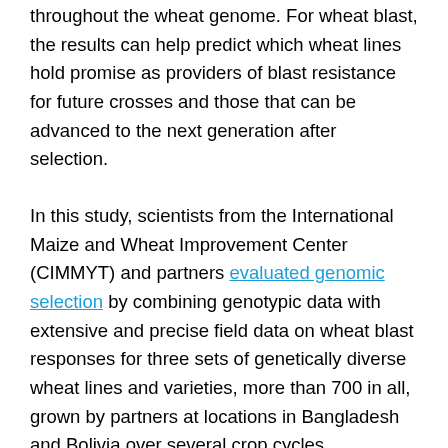throughout the wheat genome. For wheat blast, the results can help predict which wheat lines hold promise as providers of blast resistance for future crosses and those that can be advanced to the next generation after selection.
In this study, scientists from the International Maize and Wheat Improvement Center (CIMMYT) and partners evaluated genomic selection by combining genotypic data with extensive and precise field data on wheat blast responses for three sets of genetically diverse wheat lines and varieties, more than 700 in all, grown by partners at locations in Bangladesh and Bolivia over several crop cycles.
The study also assessed the use of genomic data of